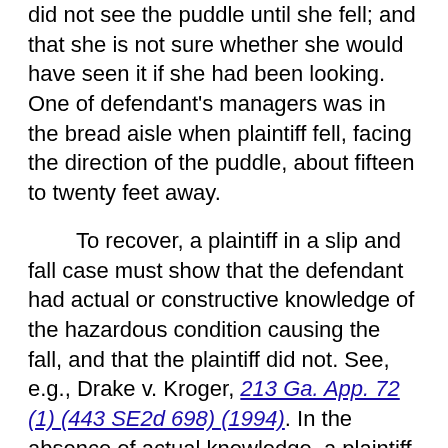did not see the puddle until she fell; and that she is not sure whether she would have seen it if she had been looking. One of defendant's managers was in the bread aisle when plaintiff fell, facing the direction of the puddle, about fifteen to twenty feet away.
To recover, a plaintiff in a slip and fall case must show that the defendant had actual or constructive knowledge of the hazardous condition causing the fall, and that the plaintiff did not. See, e.g., Drake v. Kroger, 213 Ga. App. 72 (1) (443 SE2d 698) (1994). In the absence of actual knowledge, a plaintiff can show constructive knowledge either by showing that the hazard